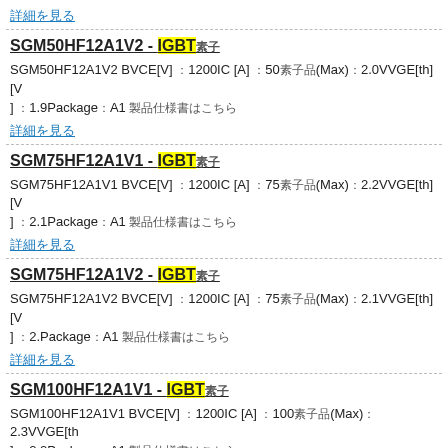詳細を見る (link at top)
SGM50HF12A1V2 - IGBT素子
SGM50HF12A1V2 BVCE[V] ：1200IC [A] ：50素子品(Max)：2.0VVGE[th][V] ：1.9Package：A1 製品仕様書はこちら
詳細を見る
SGM75HF12A1V1 - IGBT素子
SGM75HF12A1V1 BVCE[V] ：1200IC [A] ：75素子品(Max)：2.2VVGE[th][V] ：2.1Package：A1 製品仕様書はこちら
詳細を見る
SGM75HF12A1V2 - IGBT素子
SGM75HF12A1V2 BVCE[V] ：1200IC [A] ：75素子品(Max)：2.1VVGE[th][V] ：2.Package：A1 製品仕様書はこちら
詳細を見る
SGM100HF12A1V1 - IGBT素子
SGM100HF12A1V1 BVCE[V] ：1200IC [A] ：100素子品(Max)：2.3VVGE[th][V] ：2.2Package：A1 製品仕様書はこちら